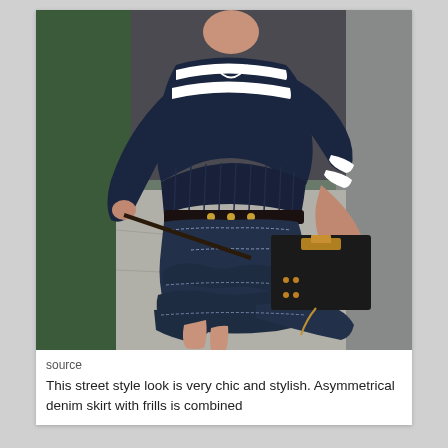[Figure (photo): Street style fashion photo showing a woman wearing a navy blue and white striped knit sweater with a dark denim asymmetrical frilled midi skirt and a black leather structured clutch bag with gold hardware. The background shows an urban street setting.]
source
This street style look is very chic and stylish. Asymmetrical denim skirt with frills is combined